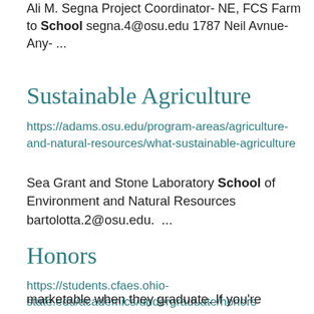Ali M. Segna Project Coordinator- NE, FCS Farm to School segna.4@osu.edu 1787 Neil Avnue- Any- ...
Sustainable Agriculture
https://adams.osu.edu/program-areas/agriculture-and-natural-resources/what-sustainable-agriculture
Sea Grant and Stone Laboratory School of Environment and Natural Resources bartolotta.2@osu.edu.  ...
Honors
https://students.cfaes.ohio-state.edu/academics/undergraduate/honors
marketable when they graduate. If you're